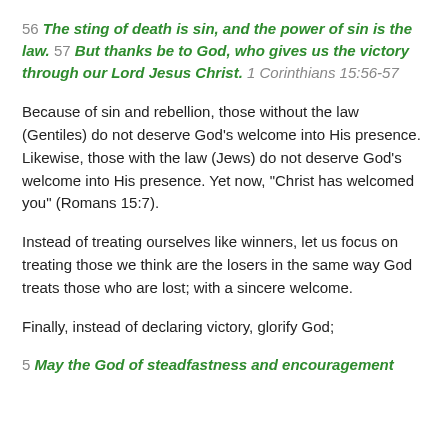56 The sting of death is sin, and the power of sin is the law. 57 But thanks be to God, who gives us the victory through our Lord Jesus Christ. 1 Corinthians 15:56-57
Because of sin and rebellion, those without the law (Gentiles) do not deserve God's welcome into His presence. Likewise, those with the law (Jews) do not deserve God's welcome into His presence. Yet now, “Christ has welcomed you” (Romans 15:7).
Instead of treating ourselves like winners, let us focus on treating those we think are the losers in the same way God treats those who are lost; with a sincere welcome.
Finally, instead of declaring victory, glorify God;
5 May the God of steadfastness and encouragement